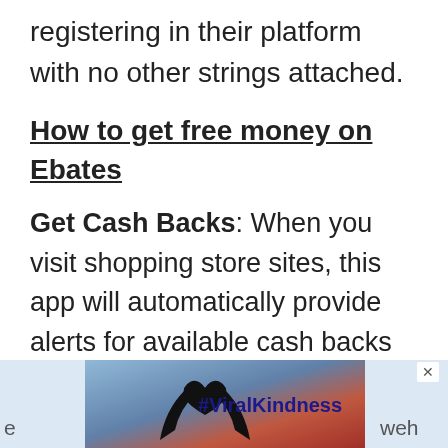registering in their platform with no other strings attached.
How to get free money on Ebates
Get Cash Backs: When you visit shopping store sites, this app will automatically provide alerts for available cash backs offers. You can get up to 40% cash back on the original price of the product. For
[Figure (screenshot): Advertisement banner at the bottom of the page showing silhouette of hands forming a heart shape with a colorful sunset background, with text '#ViralKindness' and a close (X) button in the top right corner.]